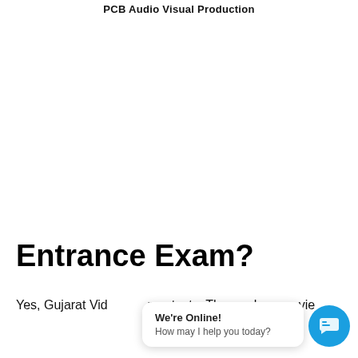PCB Audio Visual Production
Entrance Exam?
Yes, Gujarat Vid... nce tests. Those wh... vie...